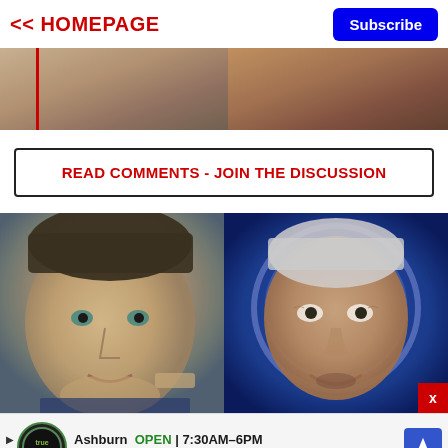<< HOMEPAGE
Subscribe
[Figure (photo): Partial photo strip showing two people's faces cropped at top, with a vertical red line on left]
READ COMMENTS - JOIN THE DISCUSSION
[Figure (photo): Side-by-side photos: left shows Ron DeSantis looking upward, right shows Joe Biden speaking against blue background with circular halo design]
x
Ashburn OPEN 7:30AM-6PM 43781 Parkhurst Plaza, Ashb...